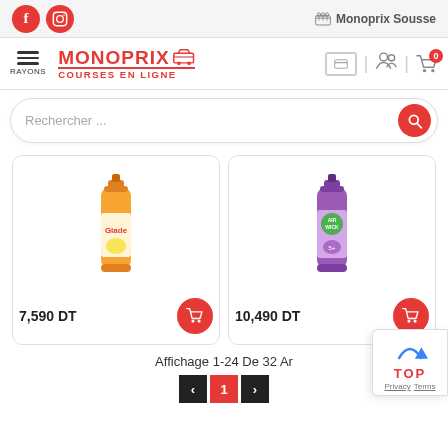Monoprix Sousse
[Figure (logo): Monoprix Courses en Ligne logo with shopping cart icon, red color]
Rechercher ...
[Figure (photo): Glade air freshener spray can, orange/yellow citrus design]
7,590 DT
[Figure (photo): Air Wick air freshener spray can, purple lavender design]
10,490 DT
Affichage 1-24 De 32 Ar
1